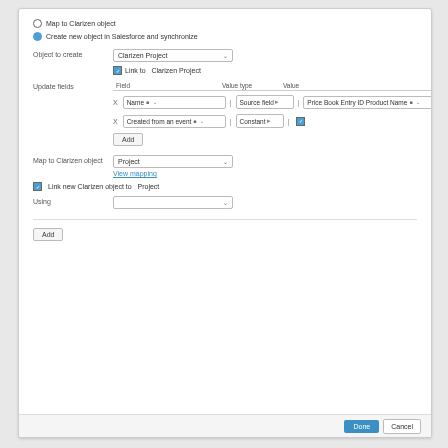Map to Clarizen object
Create new object in Salesforce and synchronize
Object to create: Clarizen Project
Link to: Clarizen Project
Update fields: Field | Value type | Value
X Name | Source field | Price Book Entry ID Product Name
X Created from an event | Constant | (checked)
Add
Map to Clarizen object: Project
View mapping
Link new Clarizen object to: Project
Using
Add
Done | Cancel